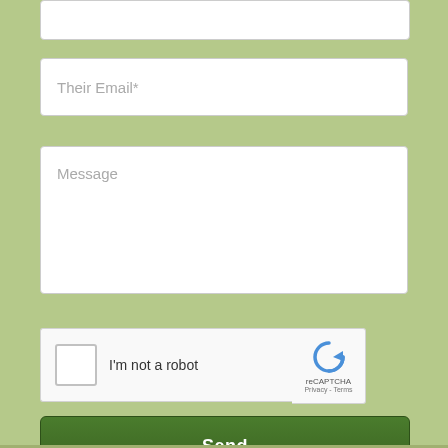[Figure (screenshot): Partial white input field cut off at the top of the page, part of a web form on a sage/olive green background]
Their Email*
Message
[Figure (other): reCAPTCHA widget with checkbox labeled 'I'm not a robot' and the reCAPTCHA logo with Privacy and Terms links]
Send